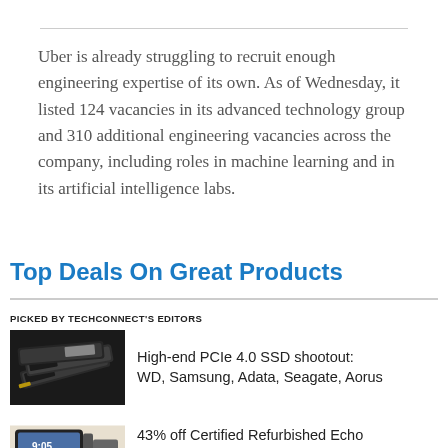Uber is already struggling to recruit enough engineering expertise of its own. As of Wednesday, it listed 124 vacancies in its advanced technology group and 310 additional engineering vacancies across the company, including roles in machine learning and in its artificial intelligence labs.
Top Deals On Great Products
PICKED BY TECHCONNECT'S EDITORS
[Figure (photo): Photo of multiple M.2 NVMe SSDs stacked/spread out]
High-end PCIe 4.0 SSD shootout: WD, Samsung, Adata, Seagate, Aorus
[Figure (photo): Photo of Echo Show device with adjustable stand]
43% off Certified Refurbished Echo Show 5 with Adjustable Stand, Dark...